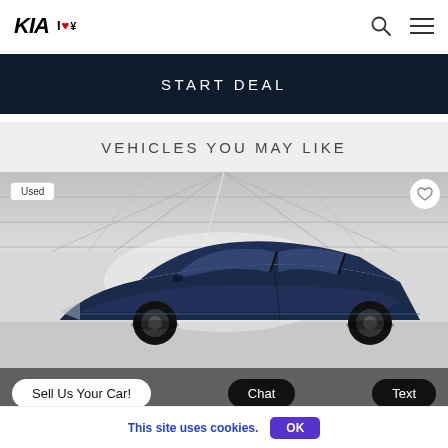KIA | I♥¥
START DEAL
VEHICLES YOU MAY LIKE
[Figure (photo): Used dark blue/navy Kia hatchback car displayed in a showroom setting with white ceiling panels. 'Used' badge in top-left corner, heart/favorite icon in top-right.]
Sell Us Your Car!
Chat
Text
This site uses cookies.
OK